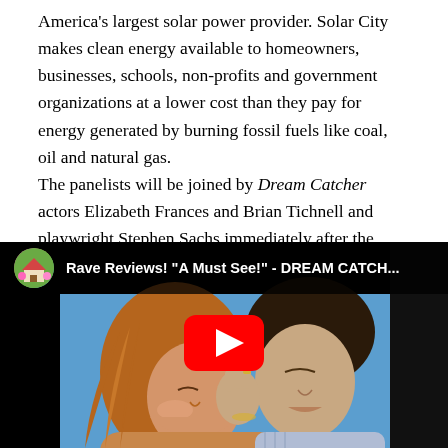America's largest solar power provider. Solar City makes clean energy available to homeowners, businesses, schools, non-profits and government organizations at a lower cost than they pay for energy generated by burning fossil fuels like coal, oil and natural gas. The panelists will be joined by Dream Catcher actors Elizabeth Frances and Brian Tichnell and playwright Stephen Sachs immediately after the performance this Saturday, March 5th.
[Figure (screenshot): YouTube video thumbnail showing title 'Rave Reviews! "A Must See!" - DREAM CATCH...' with a circular avatar icon on the left in the header bar, and a scene of two actors (a woman and a man) about to kiss against a blue background, with a red YouTube play button centered over the image.]